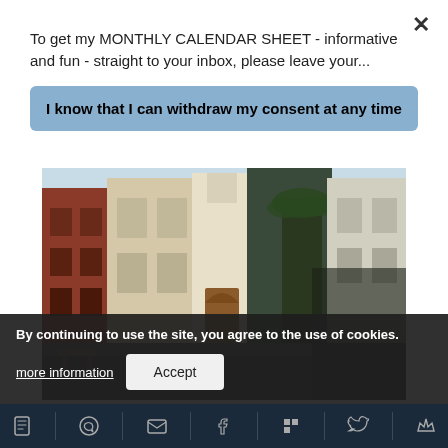To get my MONTHLY CALENDAR SHEET - informative and fun - straight to your inbox, please leave your...
I know that I can withdraw my consent at any time
[Figure (photo): Street view of the Hermitage of San Antonio Abad, Las Palmas de Gran Canaria, showing a narrow historic street with colorful buildings, a church entrance, and a palm tree.]
The Hermitage of San Antonio Abad. This is where Christopher Columbus prayed before setting sails towards the Americas in 1492.
Currently, the hermitage is part of the exhibition complex of the Atlantic Center of Modern Art CAAM that I'm introducing above.
By continuing to use the site, you agree to the use of cookies.
more information
Accept